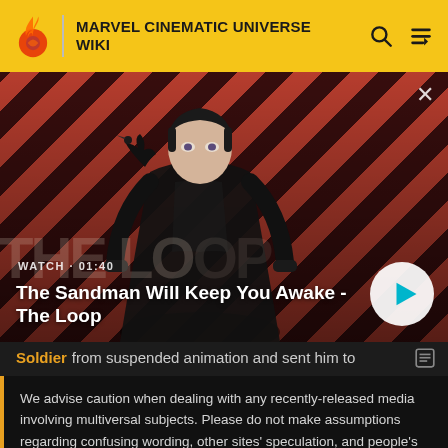MARVEL CINEMATIC UNIVERSE WIKI
[Figure (screenshot): Hero image for The Sandman Will Keep You Awake - The Loop video, showing a pale young man in dark clothing with a raven on his shoulder against a diagonal red/dark stripe background. Overlaid text reads WATCH · 01:40 and the title. Play button shown.]
Soldier from suspended animation and sent him to
We advise caution when dealing with any recently-released media involving multiversal subjects. Please do not make assumptions regarding confusing wording, other sites' speculation, and people's headcanon around the internet.